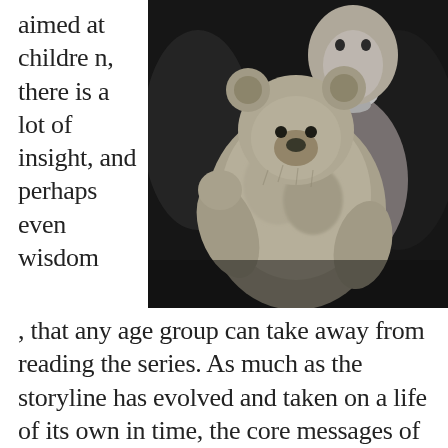aimed at children, there is a lot of insight, and perhaps even wisdom
[Figure (photo): Black and white photograph of a young child holding a teddy bear, with an adult visible in the background.]
, that any age group can take away from reading the series. As much as the storyline has evolved and taken on a life of its own in time, the core messages of friendship and compassion are still present, yet they are at their most raw form in the collection published in the 1920s.